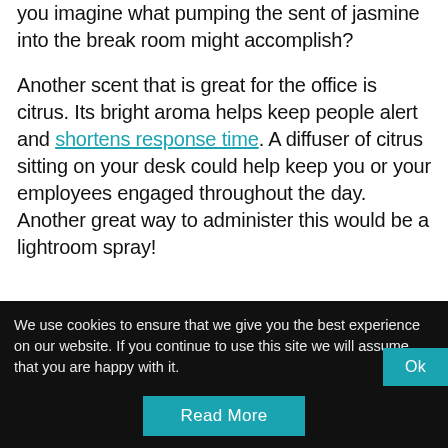you imagine what pumping the sent of jasmine into the break room might accomplish?

Another scent that is great for the office is citrus. Its bright aroma helps keep people alert and shortens response time. A diffuser of citrus sitting on your desk could help keep you or your employees engaged throughout the day. Another great way to administer this would be a lightroom spray!
We use cookies to ensure that we give you the best experience on our website. If you continue to use this site we will assume that you are happy with it. Ok
Read More